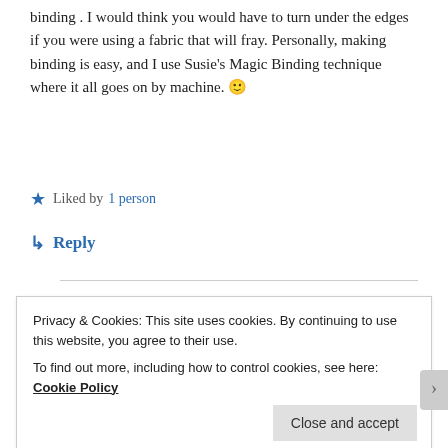binding . I would think you would have to turn under the edges if you were using a fabric that will fray. Personally, making binding is easy, and I use Susie's Magic Binding technique where it all goes on by machine. 🙂
★ Liked by 1 person
↳ Reply
LORI BREWER-QUILTINGNEEDS.COM
August 20, 2016 at 2:38 pm
Privacy & Cookies: This site uses cookies. By continuing to use this website, you agree to their use.
To find out more, including how to control cookies, see here: Cookie Policy
Close and accept